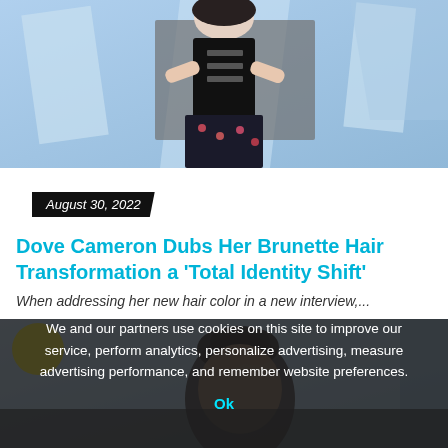[Figure (photo): Photo of a person wearing a black corset and floral skirt, posing with arms crossed, against a blue geometric background]
August 30, 2022
Dove Cameron Dubs Her Brunette Hair Transformation a 'Total Identity Shift'
When addressing her new hair color in a new interview,...
[Figure (photo): Partial photo of a person with dark curly hair, partially obscured by cookie consent overlay]
We and our partners use cookies on this site to improve our service, perform analytics, personalize advertising, measure advertising performance, and remember website preferences.